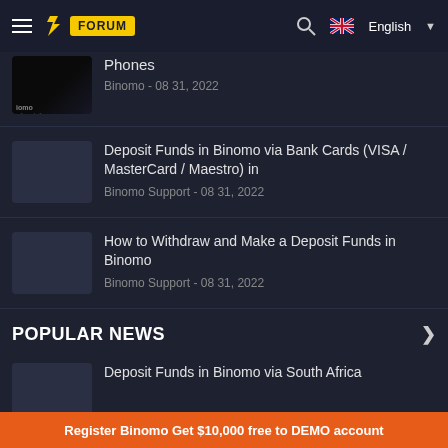FORUM | English
[Figure (screenshot): Binomo trading platform thumbnail showing dark phone/device]
Phones
Binomo - 08 31, 2022
Deposit Funds in Binomo via Bank Cards (VISA / MasterCard / Maestro) in
Binomo Support - 08 31, 2022
How to Withdraw and Make a Deposit Funds in Binomo
Binomo Support - 08 31, 2022
POPULAR NEWS
Deposit Funds in Binomo via South Africa
Register Binomo Get $10,000 free to DEMO account